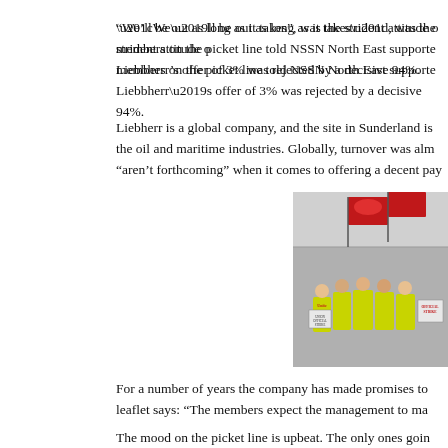“We’ll be out as long as it takes”, was the strident attitude of members on the picket line told NSSN North East supporters. Liebbherr’s offer of 3% was rejected by a decisive 94%.
Liebherr is a global company, and the site in Sunderland is part of the oil and maritime industries. Globally, turnover was almost “aren’t forthcoming” when it comes to offering a decent pay rise.
[Figure (photo): Workers on a picket line holding Unite union flags and official strike signs, wearing yellow hi-vis vests, standing outside an industrial building.]
For a number of years the company has made promises to the leaflet says: “The members expect the management to make…”
The mood on the picket line is upbeat. The only ones going…